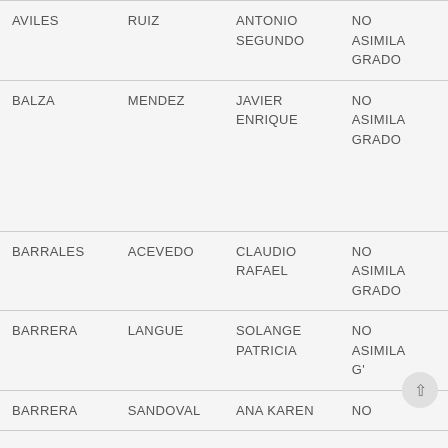| AVILES | RUIZ | ANTONIO SEGUNDO | NO ASIMILA GRADO |
| BALZA | MENDEZ | JAVIER ENRIQUE | NO ASIMILA GRADO |
| BARRALES | ACEVEDO | CLAUDIO RAFAEL | NO ASIMILA GRADO |
| BARRERA | LANGUE | SOLANGE PATRICIA | NO ASIMILA G'... |
| BARRERA | SANDOVAL | ANA KAREN | NO |